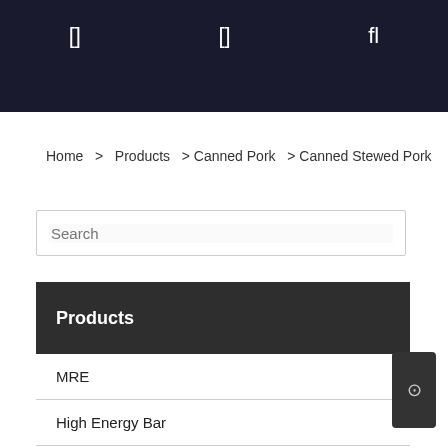[ ] fl
Home > Products > Canned Pork > Canned Stewed Pork
Search
Products
MRE
High Energy Bar